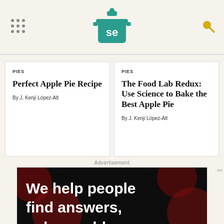[Figure (logo): Serious Eats logo - teal pot icon with 'se' text]
PIES
Perfect Apple Pie Recipe
By J. Kenji López-Alt
PIES
The Food Lab Redux: Use Science to Bake the Best Apple Pie
By J. Kenji López-Alt
Advertisement
[Figure (photo): Advertisement banner with dark background showing red bokeh circles and white bold text reading 'We help people find answers, solve problems and get inspired.' with a red period. Bottom bar shows Dotdash Meredith logo and repeated tagline.]